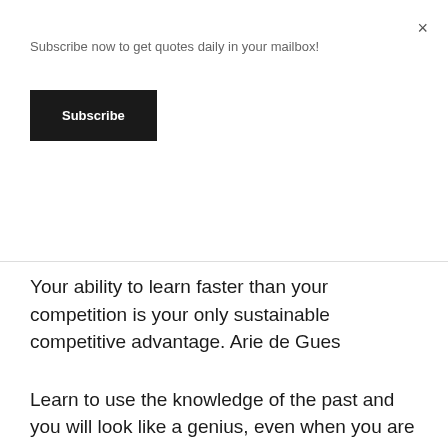Subscribe now to get quotes daily in your mailbox!
Subscribe
Your ability to learn faster than your competition is your only sustainable competitive advantage. Arie de Gues
Learn to use the knowledge of the past and you will look like a genius, even when you are really just a clever borrower. Robert Greene
Master the arts of indirection; learn to